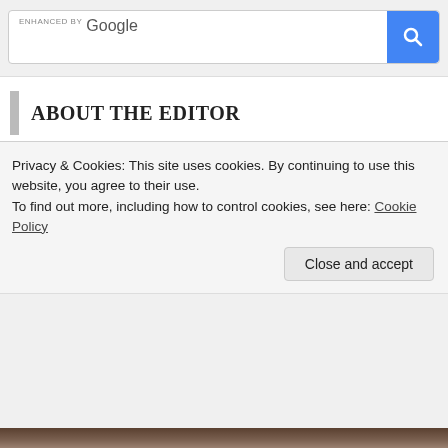[Figure (screenshot): Google enhanced search bar with blue search button and magnifying glass icon]
ABOUT THE EDITOR
[Figure (photo): Partially visible photo of a person outdoors against a blue sky background, mostly cropped showing top of head with dark hair]
Privacy & Cookies: This site uses cookies. By continuing to use this website, you agree to their use.
To find out more, including how to control cookies, see here: Cookie Policy
Close and accept